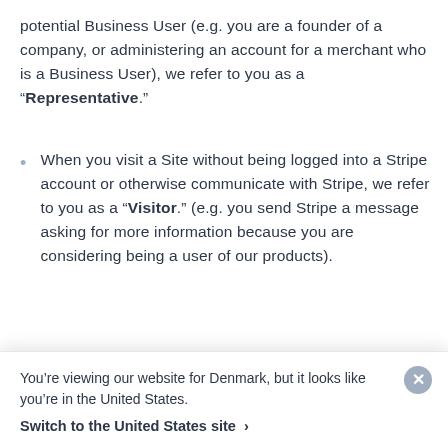potential Business User (e.g. you are a founder of a company, or administering an account for a merchant who is a Business User), we refer to you as a "Representative."
When you visit a Site without being logged into a Stripe account or otherwise communicate with Stripe, we refer to you as a "Visitor." (e.g. you send Stripe a message asking for more information because you are considering being a user of our products).
Depending on the activity, Stripe acts as a “data controller” or “data processor” and for more
You’re viewing our website for Denmark, but it looks like you’re in the United States.
Switch to the United States site ›
and share it